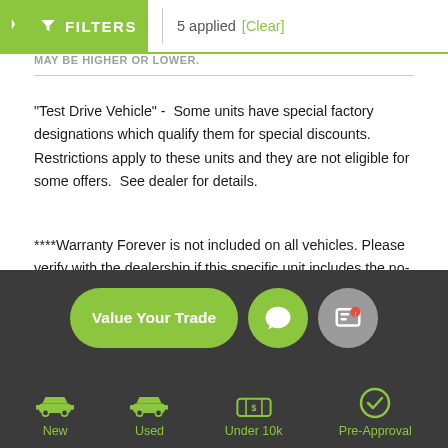FILTERS | 5 applied [Clear]
MAY BE HIGHER OR LOWER.
"Test Drive Vehicle" -  Some units have special factory designations which qualify them for special discounts. Restrictions apply to these units and they are not eligible for some offers.  See dealer for details.
****Warranty Forever is not included on all vehicles. Please verify with the dealership if this specific unit includes the no-cost Warranty Forever coverage.
[Figure (infographic): Dark footer with 'Value Your Trade' green pill button, green chat icon button, gray message icon button, and four navigation icons (New, Used, Under 10k, Pre-Approval) with green car/money/checkmark icons]